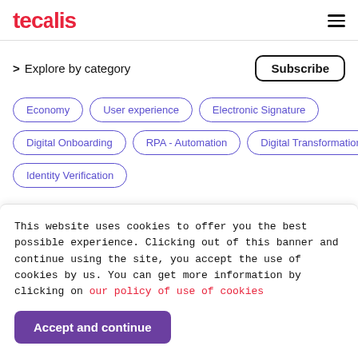tecalis
> Explore by category
Economy
User experience
Electronic Signature
Digital Onboarding
RPA - Automation
Digital Transformation
Identity Verification
This website uses cookies to offer you the best possible experience. Clicking out of this banner and continue using the site, you accept the use of cookies by us. You can get more information by clicking on our policy of use of cookies
Accept and continue